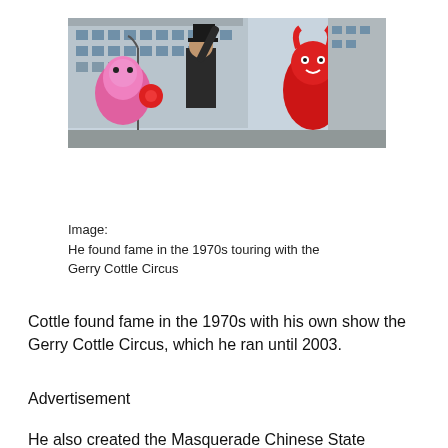[Figure (photo): Outdoor photo showing a man in dark jacket raising a top hat, flanked by colorful costumed characters including a pink fluffy character and a red mascot, with a city building in the background.]
Image:
He found fame in the 1970s touring with the Gerry Cottle Circus
Cottle found fame in the 1970s with his own show the Gerry Cottle Circus, which he ran until 2003.
Advertisement
He also created the Masquerade Chinese State